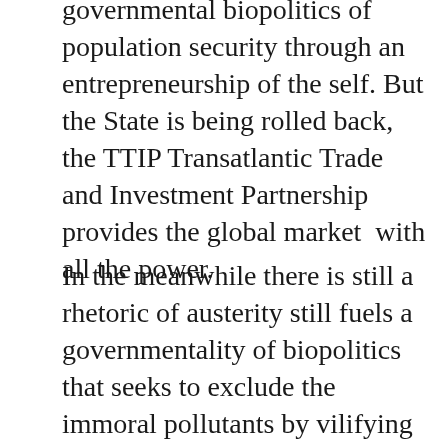governmental biopolitics of population security through an entrepreneurship of the self. But the State is being rolled back, the TTIP Transatlantic Trade and Investment Partnership provides the global market  with all the power.
In the meanwhile there is still a  rhetoric of austerity still fuels a governmentality of biopolitics that seeks to exclude the immoral pollutants by vilifying the immigrant with HIV (Farage and UKIP), the parent of the unvaccinated child